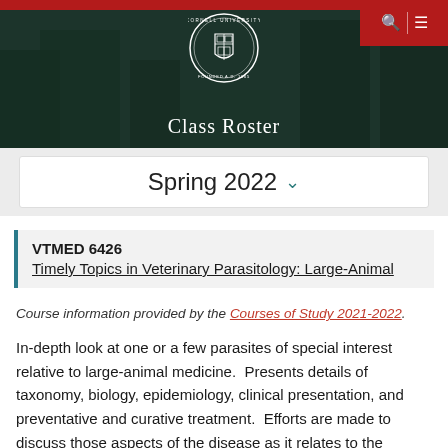[Figure (photo): Cornell University campus header banner with dark green overlay, Cornell seal/logo in center, red top bar, navigation icons (search and menu) in top-right red box, and 'Class Roster' text at bottom center]
Class Roster
Spring 2022 ▾
VTMED 6426
Timely Topics in Veterinary Parasitology: Large-Animal
Course information provided by the Courses of Study 2021-2022.
In-depth look at one or a few parasites of special interest relative to large-animal medicine.  Presents details of taxonomy, biology, epidemiology, clinical presentation, and preventative and curative treatment.  Efforts are made to discuss those aspects of the disease as it relates to the practical control of these and in-depth coverage of primary literature relating to the parasite being